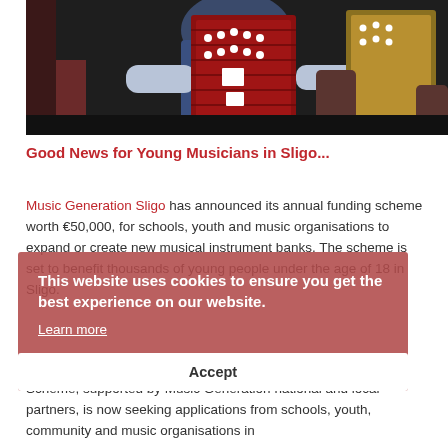[Figure (photo): Two people playing red and gold button accordions, close-up view]
Good News for Young Musicians in Sligo...
Music Generation Sligo has announced its annual funding scheme worth €50,000, for schools, youth and music organisations to expand or create new musical instrument banks. The scheme is set to benefit thousands of young people under the age of 18 in Sligo.
This website uses cookies to ensure you get the best experience on our website.
Learn more
Accept
The third annual Music Generation Sligo Instrument Bank 50/50 Scheme, supported by Music Generation national and local partners, is now seeking applications from schools, youth, community and music organisations in